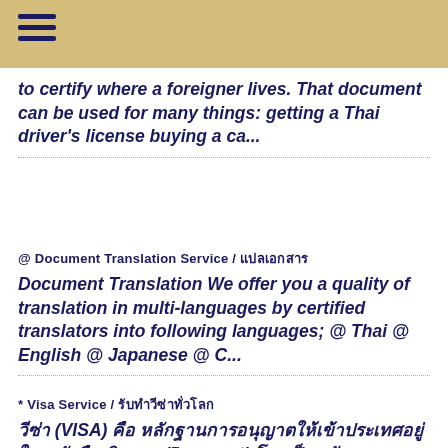to certify where a foreigner lives. That document can be used for many things: getting a Thai driver's license buying a ca...
@ Document Translation Service / แปลเอกสาร
Document Translation We offer you a quality of translation in multi-languages by certified translators into following languages; @ Thai @ English @ Japanese @ C...
* Visa Service / รับทำวีซ่าทั่วโลก
วีซ่า (VISA) คือ หลักฐานการอนุญาตให้เข้าประเทศอยู่ใน หนังสือเดินทาง (Passport) โดยเป็นหลักการเดียวกันของประเทศ